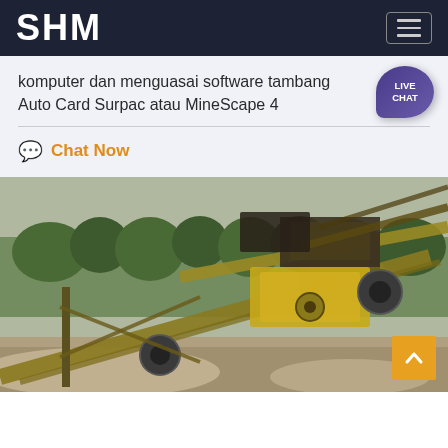SHM
komputer dan menguasai software tambang Auto Card Surpac atau MineScape 4
Chat Now
[Figure (photo): Mining machinery / conveyor belt equipment at an outdoor mining site with green trees in background. Yellow heavy equipment and structural steel conveyor frames visible.]